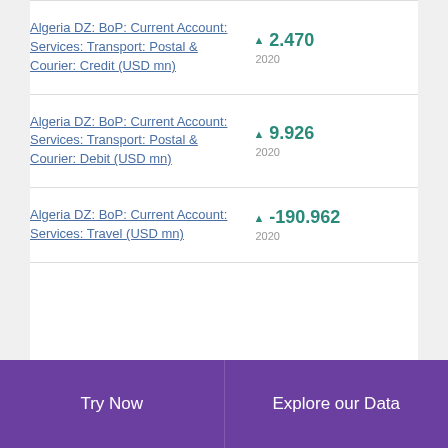Algeria DZ: BoP: Current Account: Services: Transport: Postal & Courier: Credit (USD mn)
Algeria DZ: BoP: Current Account: Services: Transport: Postal & Courier: Debit (USD mn)
Algeria DZ: BoP: Current Account: Services: Travel (USD mn)
Try Now | Explore our Data